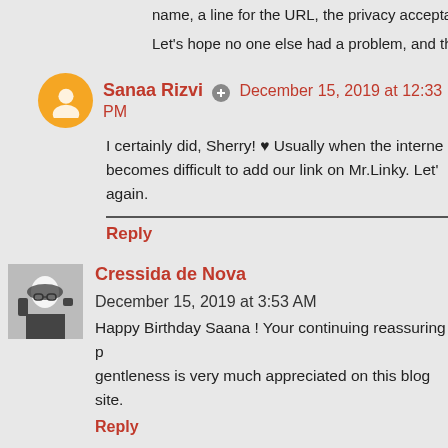name, a line for the URL, the privacy acceptance... Let's hope no one else had a problem, and that you
Sanaa Rizvi  December 15, 2019 at 12:33 PM
I certainly did, Sherry! ♥ Usually when the internet becomes difficult to add our link on Mr.Linky. Let's again.
Reply
Cressida de Nova  December 15, 2019 at 3:53 AM
Happy Birthday Saana ! Your continuing reassuring presence and gentleness is very much appreciated on this blog site.
Reply
Replies
Magaly Guerrero  December 15, 2019 at 9:44 AM